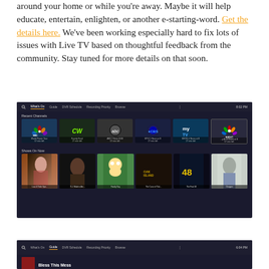around your home or while you're away. Maybe it will help educate, entertain, enlighten, or another e-starting-word. Get the details here. We've been working especially hard to fix lots of issues with Live TV based on thoughtful feedback from the community. Stay tuned for more details on that soon.
[Figure (screenshot): Dark-themed TV app interface showing 'What's On' navigation bar with tabs: Guide, DVR Schedule, Recording Priority, Browse, time 8:02 PM. Recent Channels row with NBC Sports Bay Area, CW, ABC, CBS, MyTV, NBC tiles. Shows On Now row with Law & Order SVU, O.J. Made in Am., Family Guy, The Curse of Oak Island, The Final 48, Chopper thumbnails.]
[Figure (screenshot): Dark-themed TV app interface showing Guide tab selected in navigation bar with tabs: What's On, DVR Schedule, Recording Priority, Browse, time 6:04 PM. Content shows 'Bless This Mess' with a thumbnail.]